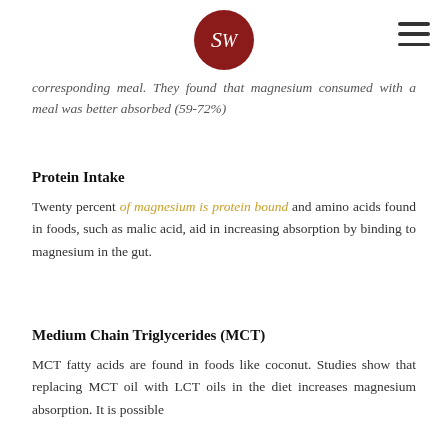[Logo: SW monogram in dark red circle] [Hamburger menu icon]
corresponding meal. They found that magnesium consumed with a meal was better absorbed (59-72%)
Protein Intake
Twenty percent of magnesium is protein bound and amino acids found in foods, such as malic acid, aid in increasing absorption by binding to magnesium in the gut.
Medium Chain Triglycerides (MCT)
MCT fatty acids are found in foods like coconut. Studies show that replacing MCT oil with LCT oils in the diet increases magnesium absorption. It is possible